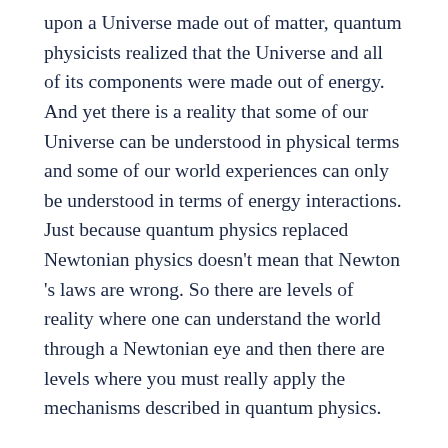upon a Universe made out of matter, quantum physicists realized that the Universe and all of its components were made out of energy. And yet there is a reality that some of our Universe can be understood in physical terms and some of our world experiences can only be understood in terms of energy interactions. Just because quantum physics replaced Newtonian physics doesn't mean that Newton 's laws are wrong. So there are levels of reality where one can understand the world through a Newtonian eye and then there are levels where you must really apply the mechanisms described in quantum physics.
LG: Yes, in physics it seems like extreme speed and gravity determine when Newton 's laws break down.